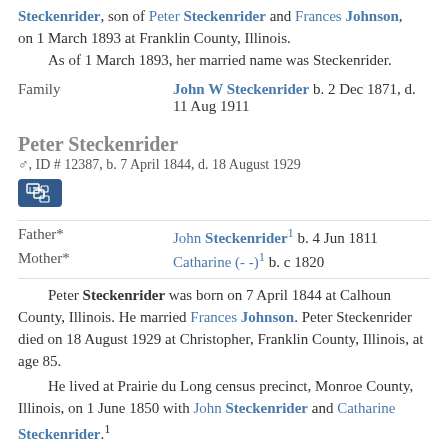Steckenrider, son of Peter Steckenrider and Frances Johnson, on 1 March 1893 at Franklin County, Illinois. As of 1 March 1893, her married name was Steckenrider.
Family  John W Steckenrider b. 2 Dec 1871, d. 11 Aug 1911
Peter Steckenrider
♂, ID # 12387, b. 7 April 1844, d. 18 August 1929
Father*  John Steckenrider¹ b. 4 Jun 1811
Mother*  Catharine (- -)¹ b. c 1820
Peter Steckenrider was born on 7 April 1844 at Calhoun County, Illinois. He married Frances Johnson. Peter Steckenrider died on 18 August 1929 at Christopher, Franklin County, Illinois, at age 85.
He lived at Prairie du Long census precinct, Monroe County, Illinois, on 1 June 1850 with John Steckenrider and Catharine Steckenrider.¹
Family  Frances Johnson b. 22 Jun 1852, d. 20 Oct